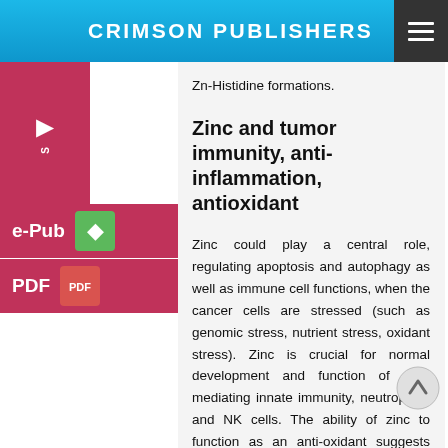CRIMSON PUBLISHERS
Zn-Histidine formations.
Zinc and tumor immunity, anti-inflammation, antioxidant
Zinc could play a central role, regulating apoptosis and autophagy as well as immune cell functions, when the cancer cells are stressed (such as genomic stress, nutrient stress, oxidant stress). Zinc is crucial for normal development and function of cells mediating innate immunity, neutrophils, and NK cells. The ability of zinc to function as an anti-oxidant suggests that it has a role in the